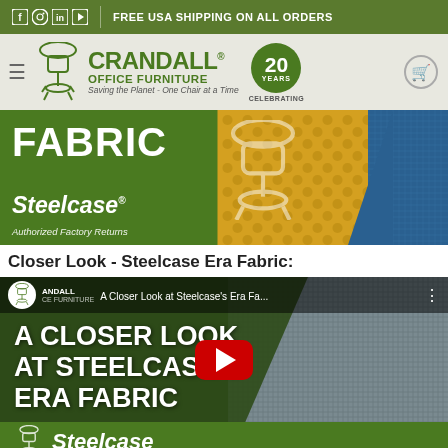FREE USA SHIPPING ON ALL ORDERS
[Figure (logo): Crandall Office Furniture logo with 20 Years Celebrating badge]
[Figure (photo): Fabric banner showing Steelcase brand with yellow and blue fabric textures. Text: FABRIC, Steelcase, Authorized Factory Returns]
Closer Look - Steelcase Era Fabric:
[Figure (screenshot): YouTube video thumbnail: A Closer Look at Steelcase's Era Fa... showing text 'A CLOSER LOOK AT STEELCASE'S ERA FABRIC' with YouTube play button and Steelcase logo at bottom]